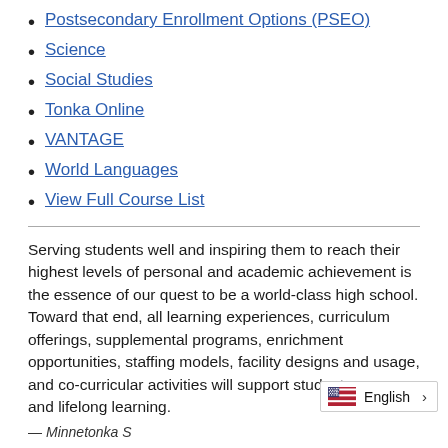Postsecondary Enrollment Options (PSEO)
Science
Social Studies
Tonka Online
VANTAGE
World Languages
View Full Course List
Serving students well and inspiring them to reach their highest levels of personal and academic achievement is the essence of our quest to be a world-class high school. Toward that end, all learning experiences, curriculum offerings, supplemental programs, enrichment opportunities, staffing models, facility designs and usage, and co-curricular activities will support student success and lifelong learning.
— Minnetonka S...